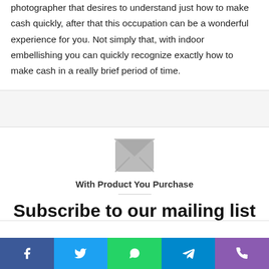photographer that desires to understand just how to make cash quickly, after that this occupation can be a wonderful experience for you. Not simply that, with indoor embellishing you can quickly recognize exactly how to make cash in a really brief period of time.
[Figure (other): Advertisement/empty gray block]
[Figure (other): Mail envelope icon (gray)]
With Product You Purchase
Subscribe to our mailing list
Social share bar: Facebook, Twitter, WhatsApp, Telegram, Viber